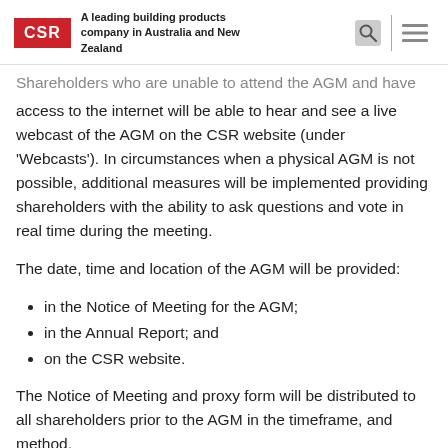CSR — A leading building products company in Australia and New Zealand
Shareholders who are unable to attend the AGM and have access to the internet will be able to hear and see a live webcast of the AGM on the CSR website (under 'Webcasts'). In circumstances when a physical AGM is not possible, additional measures will be implemented providing shareholders with the ability to ask questions and vote in real time during the meeting.
The date, time and location of the AGM will be provided:
in the Notice of Meeting for the AGM;
in the Annual Report; and
on the CSR website.
The Notice of Meeting and proxy form will be distributed to all shareholders prior to the AGM in the timeframe, and method,